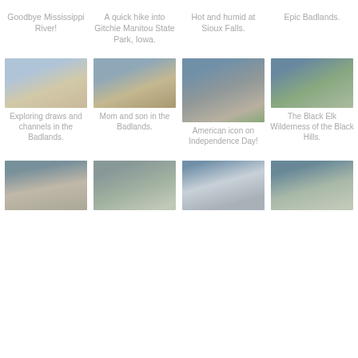Goodbye Mississippi River!
A quick hike into Gitchie Manitou State Park, Iowa.
Hot and humid at Sioux Falls.
Epic Badlands.
[Figure (photo): Rocky canyon landscape with a person visible in the Badlands]
Exploring draws and channels in the Badlands.
[Figure (photo): Badlands rocky formations with green vegetation]
Mom and son in the Badlands.
[Figure (photo): Three children sitting on rocks in front of Mount Rushmore on Independence Day]
American icon on Independence Day!
[Figure (photo): Boy standing on rock in the Black Elk Wilderness of the Black Hills]
The Black Elk Wilderness of the Black Hills.
[Figure (photo): View of Devils Tower with vehicles in foreground]
[Figure (photo): Scenic lake landscape with green hills]
[Figure (photo): Lake at sunset with silhouettes of posts]
[Figure (photo): Canyon landscape with people and rocky walls]